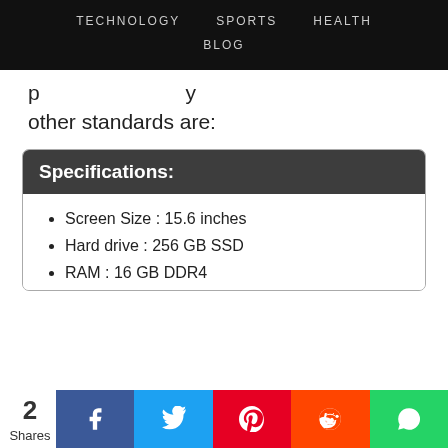TECHNOLOGY   SPORTS   HEALTH   BLOG
p ... y other standards are:
Specifications:
Screen Size : 15.6 inches
Hard drive : 256 GB SSD
RAM : 16 GB DDR4
2 Shares